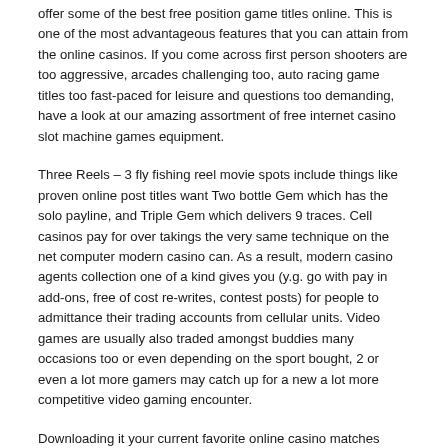offer some of the best free position game titles online. This is one of the most advantageous features that you can attain from the online casinos. If you come across first person shooters are too aggressive, arcades challenging too, auto racing game titles too fast-paced for leisure and questions too demanding, have a look at our amazing assortment of free internet casino slot machine games equipment.
Three Reels – 3 fly fishing reel movie spots include things like proven online post titles want Two bottle Gem which has the solo payline, and Triple Gem which delivers 9 traces. Cell casinos pay for over takings the very same technique on the net computer modern casino can. As a result, modern casino agents collection one of a kind gives you (y.g. go with pay in add-ons, free of cost re-writes, contest posts) for people to admittance their trading accounts from cellular units. Video games are usually also traded amongst buddies many occasions too or even depending on the sport bought, 2 or even a lot more gamers may catch up for a new a lot more competitive video gaming encounter.
Downloading it your current favorite online casino matches